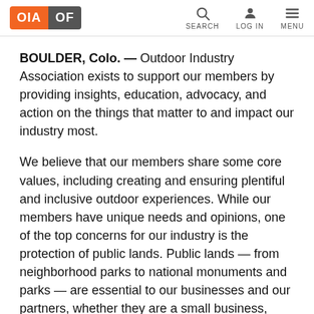OIA OF | SEARCH | LOG IN | MENU
BOULDER, Colo. — Outdoor Industry Association exists to support our members by providing insights, education, advocacy, and action on the things that matter to and impact our industry most.
We believe that our members share some core values, including creating and ensuring plentiful and inclusive outdoor experiences. While our members have unique needs and opinions, one of the top concerns for our industry is the protection of public lands. Public lands — from neighborhood parks to national monuments and parks — are essential to our businesses and our partners, whether they are a small business, nonprofit, or a large business with a national footprint.
Our businesses need places for people to get out and